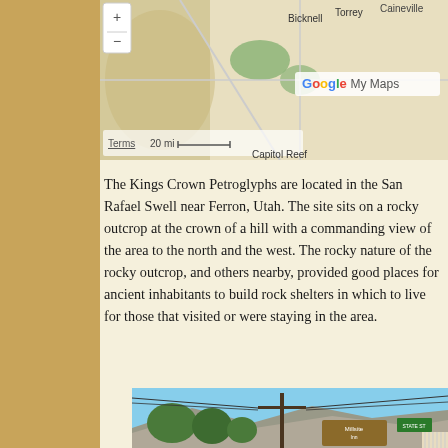[Figure (map): Google My Maps screenshot showing area around Bicknell, Torrey, Caineville, and Capitol Reef in Utah. Shows zoom controls, scale bar (20 mi), and Terms label.]
The Kings Crown Petroglyphs are located in the San Rafael Swell near Ferron, Utah. The site sits on a rocky outcrop at the crown of a hill with a commanding view of the area to the north and the west. The rocky nature of the rocky outcrop, and others nearby, provided good places for ancient inhabitants to build rock shelters in which to live for those that visited or were staying in the area.
[Figure (photo): Street-level photo of Ferron, Utah town with utility poles, power lines, trees, Millsite Inn restaurant sign, Millsite State Park sign, green road signs, and mountains/hills in background under blue sky.]